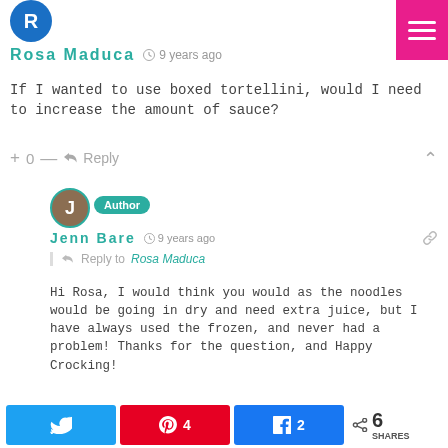[Figure (illustration): User avatar circle with letter R in blue/teal color]
Rosa Maduca  9 years ago
If I wanted to use boxed tortellini, would I need to increase the amount of sauce?
+ 0 —  Reply
[Figure (illustration): Reply author avatar circle with letter J in brown color, with teal border and Author badge]
Jenn Bare  9 years ago
Reply to Rosa Maduca
Hi Rosa, I would think you would as the noodles would be going in dry and need extra juice, but I have always used the frozen, and never had a problem! Thanks for the question, and Happy Crocking!
+ 0 —  Reply
[Figure (infographic): Social share bar with Twitter, Pinterest (4), Facebook (2) buttons and total 6 SHARES]